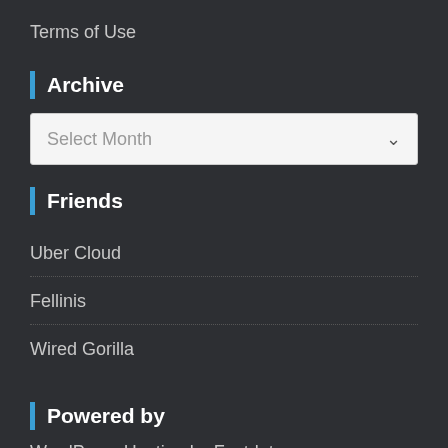Terms of Use
Archive
Select Month
Friends
Uber Cloud
Fellinis
Wired Gorilla
Powered by
WordPress Hosting by Fastdot